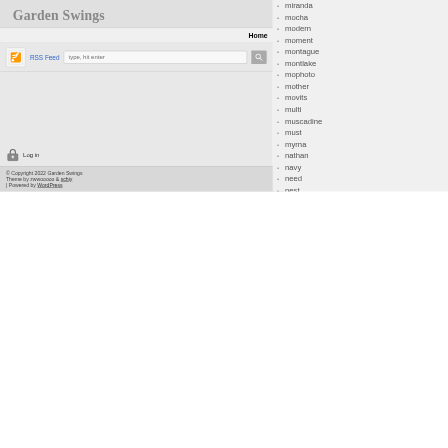Garden Swings
Home
RSS Feed  type, hit enter
Log in
© Copyright 2022 Garden Swings
Theme by zwwooooo & schiy
| Powered by WordPress
miranda
mocha
modern
moment
montague
montlake
mophoto
mother
movits
multi
muscadine
must
myrna
nathan
navy
need
nest
newspring
norma
northland
oakland